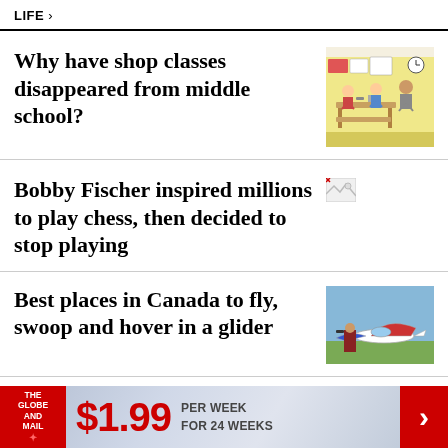LIFE >
Why have shop classes disappeared from middle school?
[Figure (illustration): Illustration of a shop class scene with students working at desks with tools and equipment, yellow background]
Bobby Fischer inspired millions to play chess, then decided to stop playing
[Figure (photo): Broken/missing image placeholder]
Best places in Canada to fly, swoop and hover in a glider
[Figure (photo): Photo of a person in a red jacket standing next to a glider aircraft on a grassy airfield]
Life changes, baseball does not
[Figure (photo): Broken/missing image placeholder]
[Figure (infographic): Advertisement banner: The Globe and Mail - $1.99 per week for 24 weeks]